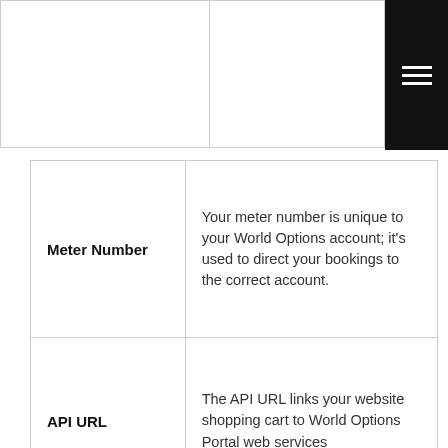[Figure (other): Top portion of a two-column table partially visible with a black navigation menu button (hamburger icon) in upper right corner]
|  |  |
| --- | --- |
| Meter Number | Your meter number is unique to your World Options account; it's used to direct your bookings to the correct account. |
| API URL | The API URL links your website shopping cart to World Options Portal web services |
| Residential | The residential tick box is used for couriers that charge a residential delivery fee for business and service... |